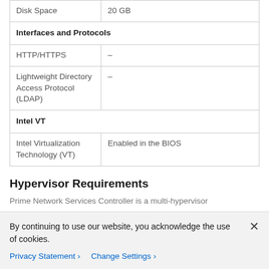| Disk Space | 20 GB |
| Interfaces and Protocols |  |
| HTTP/HTTPS | – |
| Lightweight Directory Access Protocol (LDAP) | – |
| Intel VT |  |
| Intel Virtualization Technology (VT) | Enabled in the BIOS |
Hypervisor Requirements
Prime Network Services Controller is a multi-hypervisor
By continuing to use our website, you acknowledge the use of cookies.
Privacy Statement › Change Settings ›